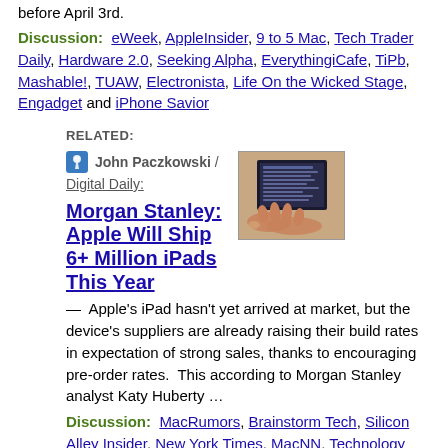before April 3rd.
Discussion:  eWeek, AppleInsider, 9 to 5 Mac, Tech Trader Daily, Hardware 2.0, Seeking Alpha, EverythingiCafe, TiPb, Mashable!, TUAW, Electronista, Life On the Wicked Stage, Engadget and iPhone Savior
RELATED:
John Paczkowski / Digital Daily:
[Figure (photo): Hands typing on an iPad screen]
Morgan Stanley: Apple Will Ship 6+ Million iPads This Year
—  Apple's iPad hasn't yet arrived at market, but the device's suppliers are already raising their build rates in expectation of strong sales, thanks to encouraging pre-order rates.  This according to Morgan Stanley analyst Katy Huberty …
Discussion:  MacRumors, Brainstorm Tech, Silicon Alley Insider, New York Times, MacNN, Technology Questions, ChannelWeb, 9 to 5 Mac,